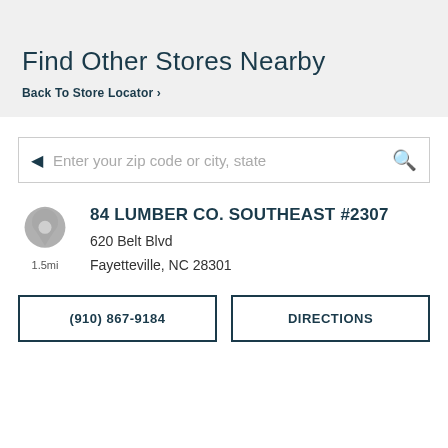Find Other Stores Nearby
Back To Store Locator >
Enter your zip code or city, state
84 LUMBER CO. SOUTHEAST #2307
620 Belt Blvd
Fayetteville, NC 28301
1.5mi
(910) 867-9184
DIRECTIONS